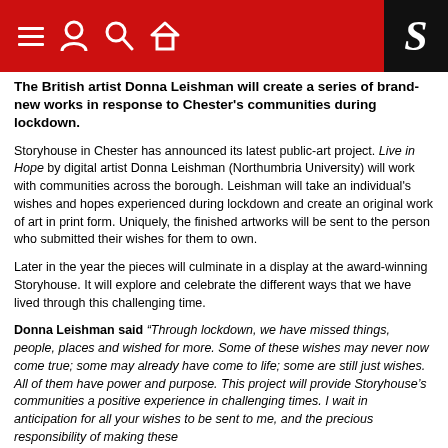S [Storyhouse navigation header with hamburger, user, search, home icons and S logo]
The British artist Donna Leishman will create a series of brand-new works in response to Chester's communities during lockdown.
Storyhouse in Chester has announced its latest public-art project. Live in Hope by digital artist Donna Leishman (Northumbria University) will work with communities across the borough. Leishman will take an individual's wishes and hopes experienced during lockdown and create an original work of art in print form. Uniquely, the finished artworks will be sent to the person who submitted their wishes for them to own.
Later in the year the pieces will culminate in a display at the award-winning Storyhouse. It will explore and celebrate the different ways that we have lived through this challenging time.
Donna Leishman said “Through lockdown, we have missed things, people, places and wished for more. Some of these wishes may never now come true; some may already have come to life; some are still just wishes. All of them have power and purpose. This project will provide Storyhouse’s communities a positive experience in challenging times. I wait in anticipation for all your wishes to be sent to me, and the precious responsibility of making these